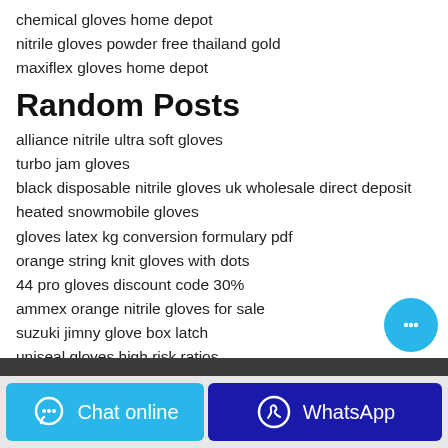chemical gloves home depot
nitrile gloves powder free thailand gold
maxiflex gloves home depot
Random Posts
alliance nitrile ultra soft gloves
turbo jam gloves
black disposable nitrile gloves uk wholesale direct deposit
heated snowmobile gloves
gloves latex kg conversion formulary pdf
orange string knit gloves with dots
44 pro gloves discount code 30%
ammex orange nitrile gloves for sale
suzuki jimny glove box latch
uniseal gloves high risk ratios